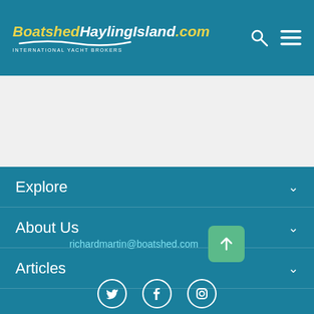BoatshedHaylingIsland.com — INTERNATIONAL YACHT BROKERS
Explore
About Us
Articles
richardmartin@boatshed.com
[Figure (illustration): Social media icons: Twitter, Facebook, Instagram]